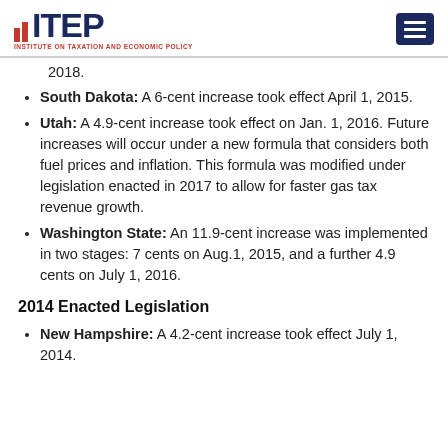ITEP - Institute on Taxation and Economic Policy
2018.
South Dakota: A 6-cent increase took effect April 1, 2015.
Utah: A 4.9-cent increase took effect on Jan. 1, 2016. Future increases will occur under a new formula that considers both fuel prices and inflation. This formula was modified under legislation enacted in 2017 to allow for faster gas tax revenue growth.
Washington State: An 11.9-cent increase was implemented in two stages: 7 cents on Aug.1, 2015, and a further 4.9 cents on July 1, 2016.
2014 Enacted Legislation
New Hampshire: A 4.2-cent increase took effect July 1, 2014.